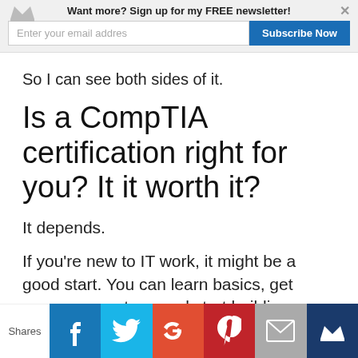Want more? Sign up for my FREE newsletter! [email input] Subscribe Now
So I can see both sides of it.
Is a CompTIA certification right for you? It it worth it?
It depends.
If you're new to IT work, it might be a good start. You can learn basics, get some momentum, and start building credibility.
Shares [Facebook] [Twitter] [G+] [Pinterest] [Email] [Crown]